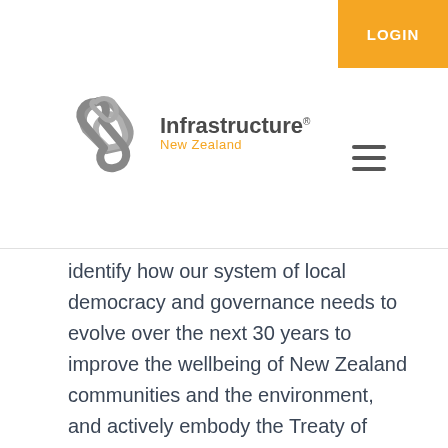LOGIN
[Figure (logo): Infrastructure New Zealand logo — stylized angular arrow/paperclip shape in grey, with 'Infrastructure' in dark grey bold and 'New Zealand' in orange below]
identify how our system of local democracy and governance needs to evolve over the next 30 years to improve the wellbeing of New Zealand communities and the environment, and actively embody the Treaty of Waitangi partnership. The review's long-term focus means it will look to relevant reports such as those